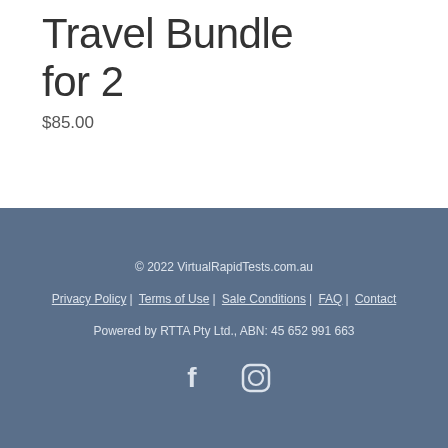Travel Bundle for 2
$85.00
© 2022 VirtualRapidTests.com.au
Privacy Policy | Terms of Use | Sale Conditions | FAQ | Contact
Powered by RTTA Pty Ltd., ABN: 45 652 991 663
[Figure (other): Facebook and Instagram social media icons]